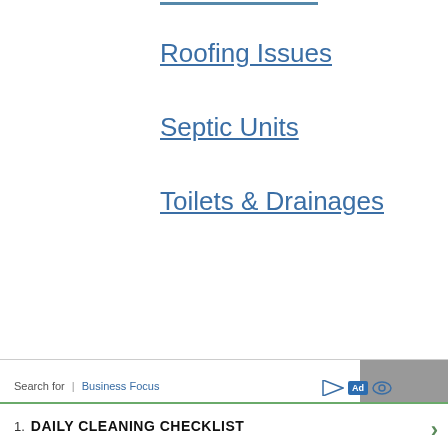Roofing Issues
Septic Units
Toilets & Drainages
Search for | Business Focus  1. DAILY CLEANING CHECKLIST